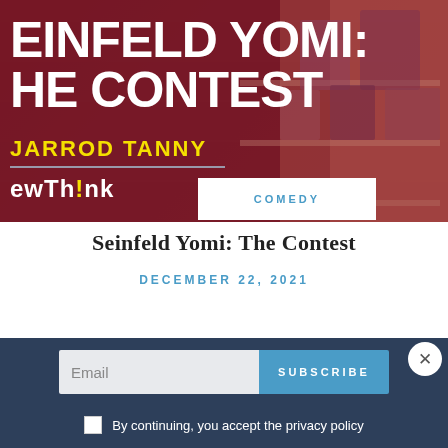[Figure (photo): Hero image for article about Seinfeld Yomi: The Contest. Dark red-purple tinted background with clothing store shelves. Large white bold text reads 'EINFELD YOMI: HE CONTEST', author name 'JARROD TANNY' in yellow, brand logo 'ewTh!nk', and a white box with 'COMEDY' in blue letters.]
Seinfeld Yomi: The Contest
DECEMBER 22, 2021
Email
SUBSCRIBE
By continuing, you accept the privacy policy